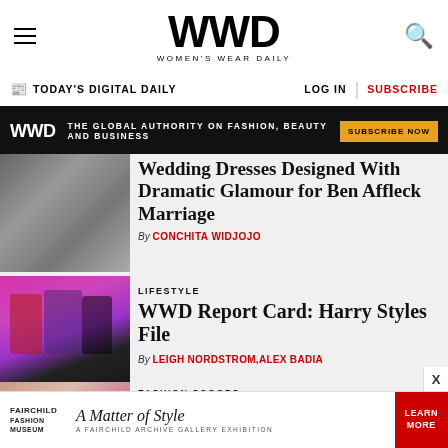WWD — Women's Wear Daily
TODAY'S DIGITAL DAILY   LOG IN   SUBSCRIBE
[Figure (infographic): WWD ad banner: THE GLOBAL AUTHORITY ON FASHION, BEAUTY AND BUSINESS — SUBSCRIBE NOW]
Wedding Dresses Designed With Dramatic Glamour for Ben Affleck Marriage
By CONCHITA WIDJOJO
LIFESTYLE
WWD Report Card: Harry Styles File
By LEIGH NORDSTROM, ALEX BADIA
FASHION SCOOPS
Lori Harvey Goes Bold in...
[Figure (infographic): Fairchild Fashion Museum ad: A Matter of Style — A Fairchild Archive Gallery Exhibition — LEARN MORE]